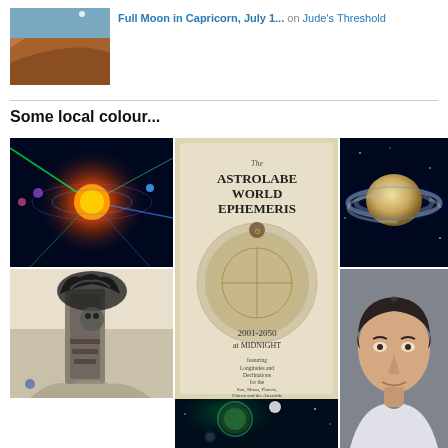[Figure (photo): Thumbnail photo of red/orange cliff or rock face against sky with moon]
Full Moon in Capricorn, July 1... on Jude's Threshold
Some local colour...
[Figure (illustration): Colorful cosmic solar system illustration with swirling energy and planets]
[Figure (photo): Book cover: The Astrolabe World Ephemeris 2001-2050 at Midnight, featuring Longitudes and Declinations for the Sun, Moon, Planets, Chiron and the Asteroids. Preface by Robert Hand.]
[Figure (photo): Photo of Saturn with its rings against dark blue background]
[Figure (illustration): Black and white fantasy illustration of a dark totem or figure with surreal elements]
[Figure (photo): Space scene with glowing planets and stars on dark background]
[Figure (photo): Portrait photo of a woman with short dark hair smiling slightly]